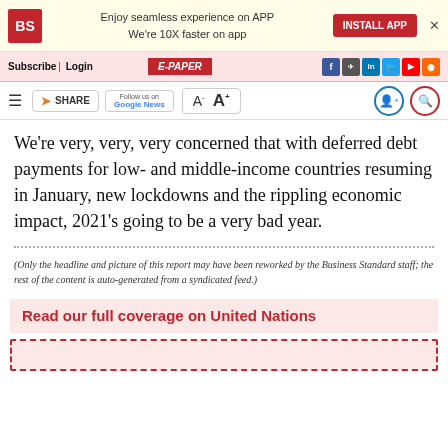Enjoy seamless experience on APP We're 10X faster on app | INSTALL APP
Subscribe | Login | E-PAPER
SHARE | Follow us on Google News | A- A+
We're very, very, very concerned that with deferred debt payments for low- and middle-income countries resuming in January, new lockdowns and the rippling economic impact, 2021's going to be a very bad year.
(Only the headline and picture of this report may have been reworked by the Business Standard staff; the rest of the content is auto-generated from a syndicated feed.)
Read our full coverage on United Nations